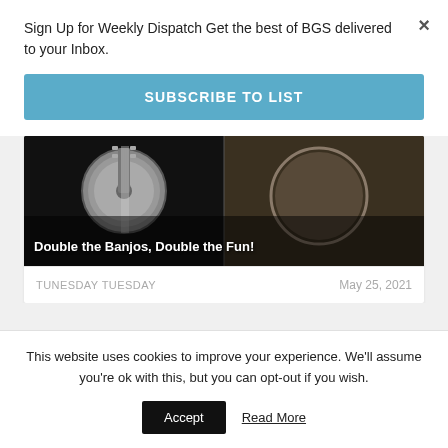Sign Up for Weekly Dispatch Get the best of BGS delivered to your Inbox.
×
SUBSCRIBE TO LIST
[Figure (photo): Dark background image of a banjo with a split second image on the right side, with text overlay 'Double the Banjos, Double the Fun!']
Double the Banjos, Double the Fun!
TUNESDAY TUESDAY
May 25, 2021
This website uses cookies to improve your experience. We'll assume you're ok with this, but you can opt-out if you wish.
Accept
Read More